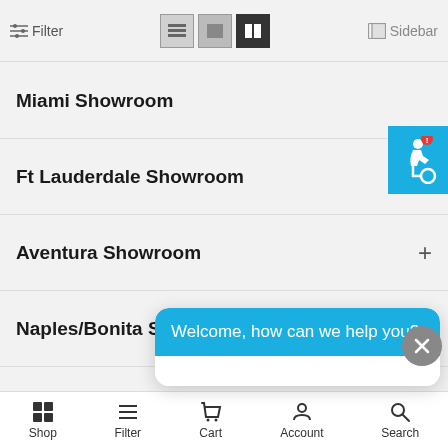Filter | (view icons) | Sidebar
Miami Showroom
Ft Lauderdale Showroom
Aventura Showroom
Naples/Bonita Showroom
Miami ...
Outlet ...
[Figure (screenshot): Chat popup with header 'Welcome, how can we help you?' and message input field 'Write your message...']
Shop | Filter | Cart | Account | Search